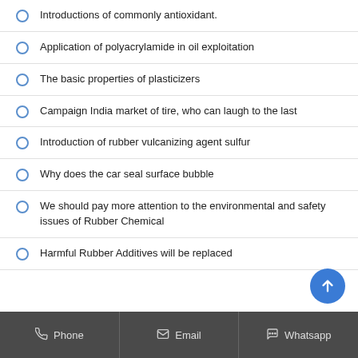Introductions of commonly antioxidant.
Application of polyacrylamide in oil exploitation
The basic properties of plasticizers
Campaign India market of tire, who can laugh to the last
Introduction of rubber vulcanizing agent sulfur
Why does the car seal surface bubble
We should pay more attention to the environmental and safety issues of Rubber Chemical
Harmful Rubber Additives will be replaced
Phone   Email   Whatsapp